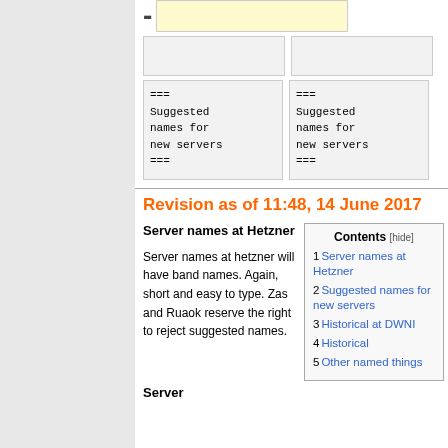[Figure (screenshot): Wikipedia-style edit interface showing input fields: one yellow highlighted text input, two gray inputs, and two code text areas containing '=== Suggested names for new servers ===' on the left panel area]
Revision as of 11:48, 14 June 2017
Server names at Hetzner
Server names at hetzner will have band names. Again, short and easy to type. Zas and Ruaok reserve the right to reject suggested names.
| # | Section |
| --- | --- |
| 1 | Server names at Hetzner |
| 2 | Suggested names for new servers |
| 3 | Historical at DWNI |
| 4 | Historical |
| 5 | Other named things |
Server